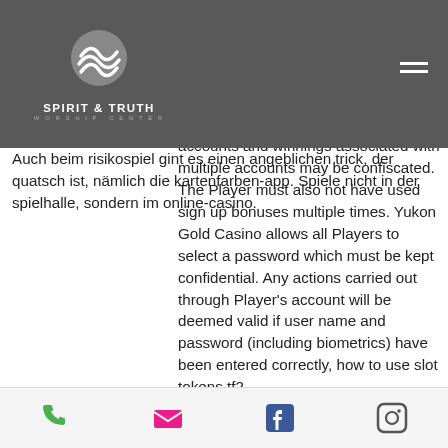SPIRIT & TRUTH WORSHIP CENTER
whoever they get started, slot machine app mit leiter.
Players may only open and operate a single account. Where a Player is identified with more than one account we reserve the right to suspend these accounts and winnings associated with multiple accounts may be confiscated. The Player must also not have used sign up bonuses multiple times. Yukon Gold Casino allows all Players to select a password which must be kept confidential. Any actions carried out through Player's account will be deemed valid if user name and password (including biometrics) have been entered correctly, how to use slot tokens tf2.
Auch beim risikospiel gint es einen angeblichen trick, der quatsch ist, nämlich die kartenfarben-app. Spiele nicht in der spielhalle, sondern im online-casino.
Phone | Email | Facebook | Instagram